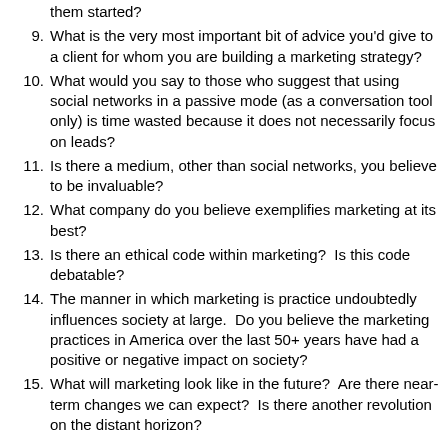them started?
9. What is the very most important bit of advice you'd give to a client for whom you are building a marketing strategy?
10. What would you say to those who suggest that using social networks in a passive mode (as a conversation tool only) is time wasted because it does not necessarily focus on leads?
11. Is there a medium, other than social networks, you believe to be invaluable?
12. What company do you believe exemplifies marketing at its best?
13. Is there an ethical code within marketing?  Is this code debatable?
14. The manner in which marketing is practice undoubtedly influences society at large.  Do you believe the marketing practices in America over the last 50+ years have had a positive or negative impact on society?
15. What will marketing look like in the future?  Are there near-term changes we can expect?  Is there another revolution on the distant horizon?